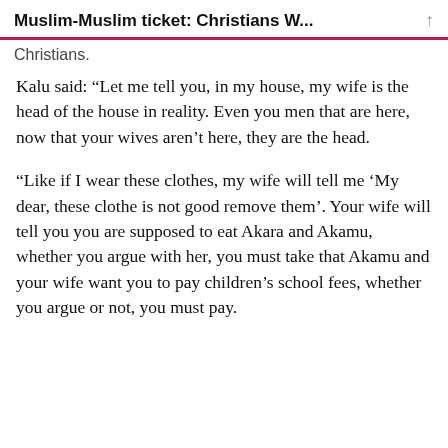Muslim-Muslim ticket: Christians W...
Christians.
Kalu said: “Let me tell you, in my house, my wife is the head of the house in reality. Even you men that are here, now that your wives aren’t here, they are the head.
“Like if I wear these clothes, my wife will tell me ‘My dear, these clothe is not good remove them’. Your wife will tell you you are supposed to eat Akara and Akamu, whether you argue with her, you must take that Akamu and your wife want you to pay children’s school fees, whether you argue or not, you must pay.